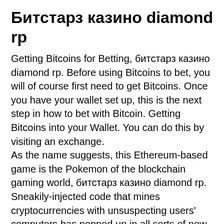Битстарз казино diamond rp
Getting Bitcoins for Betting, битстарз казино diamond rp. Before using Bitcoins to bet, you will of course first need to get Bitcoins. Once you have your wallet set up, this is the next step in how to bet with Bitcoin. Getting Bitcoins into your Wallet. You can do this by visiting an exchange.
As the name suggests, this Ethereum-based game is the Pokemon of the blockchain gaming world, битстарз казино diamond rp. Sneakily-injected code that mines cryptocurrencies with unsuspecting users' computers has popped up in all sorts of new and strange contexts recently'from torrent sites to internet-connected toasters. Now it looks like this scheme, which has come under scrutiny from internet gatekeepers like Cloudflare, has arrived in the world of video